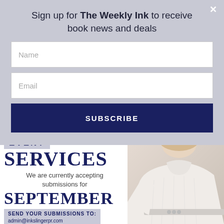Sign up for The Weekly Ink to receive book news and deals
Name
Email
SUBSCRIBE
EVENT SERVICES
We are currently accepting submissions for
SEPTEMBER
SEND YOUR SUBMISSIONS TO: admin@inkslingerpr.com
[Figure (photo): Woman in white knit sweater, partial view, background of the promotional image]